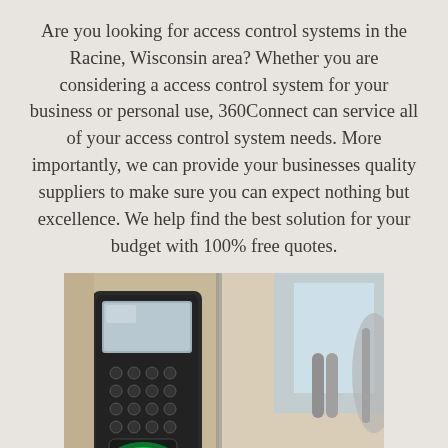Are you looking for access control systems in the Racine, Wisconsin area? Whether you are considering a access control system for your business or personal use, 360Connect can service all of your access control system needs. More importantly, we can provide your businesses quality suppliers to make sure you can expect nothing but excellence. We help find the best solution for your budget with 100% free quotes.
[Figure (photo): A person's finger touching a biometric fingerprint scanner keypad mounted on a wall, with a glowing green light at the bottom indicating scan in progress. The background shows a corridor with glass doors.]